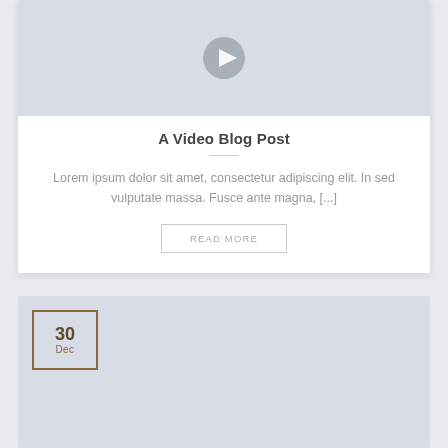[Figure (other): Video thumbnail area with play button circle]
A Video Blog Post
Lorem ipsum dolor sit amet, consectetur adipiscing elit. In sed vulputate massa. Fusce ante magna, [...]
READ MORE
[Figure (other): Blog post image area with date overlay showing 30 Dec]